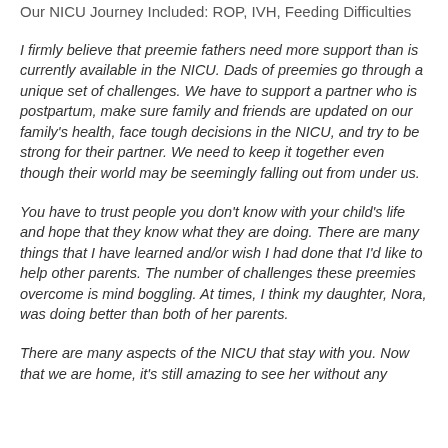Our NICU Journey Included: ROP, IVH, Feeding Difficulties
I firmly believe that preemie fathers need more support than is currently available in the NICU. Dads of preemies go through a unique set of challenges. We have to support a partner who is postpartum, make sure family and friends are updated on our family's health, face tough decisions in the NICU, and try to be strong for their partner. We need to keep it together even though their world may be seemingly falling out from under us.
You have to trust people you don't know with your child's life and hope that they know what they are doing. There are many things that I have learned and/or wish I had done that I'd like to help other parents. The number of challenges these preemies overcome is mind boggling. At times, I think my daughter, Nora, was doing better than both of her parents.
There are many aspects of the NICU that stay with you. Now that we are home, it's still amazing to see her without any